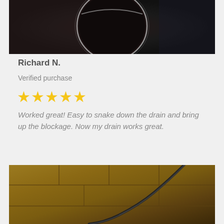[Figure (photo): Close-up photo of a dark drain opening, circular shape visible with light reflection around the rim, dark background.]
Richard N.
Verified purchase
[Figure (other): Five yellow star rating icons]
Worked great! Easy to snake down the drain and bring up the blockage. Now my drain works great.
[Figure (photo): Close-up photo of a drain snake tool on a tile floor, showing the dark coiled cable against brown/tan tiled surface.]